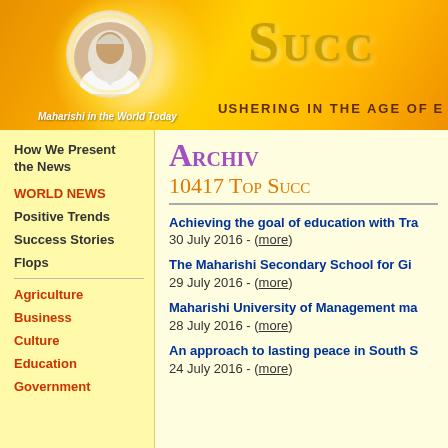[Figure (illustration): Website header banner with orange/yellow gradient background, circular portrait photo of Maharishi with white glow, large gold 'Succ' text (cropped), and bold subtitle text]
Maharishi in the World Today
SUCC... USHERING IN THE AGE OF ...
How We Present the News
WORLD NEWS
Positive Trends
Success Stories
Flops
Agriculture
Business
Culture
Education
Government
ARCHIVES 10417 Top Success Stories
Achieving the goal of education with Tra...
30 July 2016 - (more)
The Maharishi Secondary School for Gi...
29 July 2016 - (more)
Maharishi University of Management ma...
28 July 2016 - (more)
An approach to lasting peace in South S...
24 July 2016 - (more)